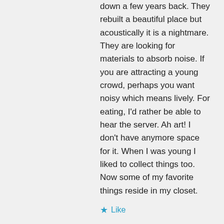down a few years back. They rebuilt a beautiful place but acoustically it is a nightmare. They are looking for materials to absorb noise. If you are attracting a young crowd, perhaps you want noisy which means lively. For eating, I’d rather be able to hear the server. Ah art! I don’t have anymore space for it. When I was young I liked to collect things too. Now some of my favorite things reside in my closet.
★ Like
↪ Reply
Jill Weatherholt on July 23, 2017 at 8:19 am
Funny, I was just listening to the locusts earlier